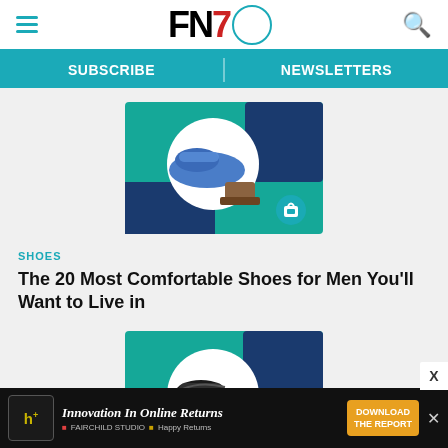FN7 - Footwear News header with hamburger menu, logo, and search icon
SUBSCRIBE | NEWSLETTERS
[Figure (photo): Thumbnail image of blue sneaker and brown boot on teal/green background with shopping bag icon]
SHOES
The 20 Most Comfortable Shoes for Men You'll Want to Live in
[Figure (photo): Thumbnail image of black sneaker on teal/green background with shopping bag icon]
WOMEN'S
The 20 Best Walking Shoes for Women in 2023...
[Figure (screenshot): Advertisement banner: Innovation In Online Returns - Happy Returns download the report]